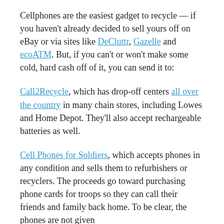Cellphones are the easiest gadget to recycle — if you haven't already decided to sell yours off on eBay or via sites like DeCluttr, Gazelle and ecoATM. But, if you can't or won't make some cold, hard cash off of it, you can send it to:
Call2Recycle, which has drop-off centers all over the country in many chain stores, including Lowes and Home Depot. They'll also accept rechargeable batteries as well.
Cell Phones for Soldiers, which accepts phones in any condition and sells them to refurbishers or recyclers. The proceeds go toward purchasing phone cards for troops so they can call their friends and family back home. To be clear, the phones are not given directly to the soldiers.